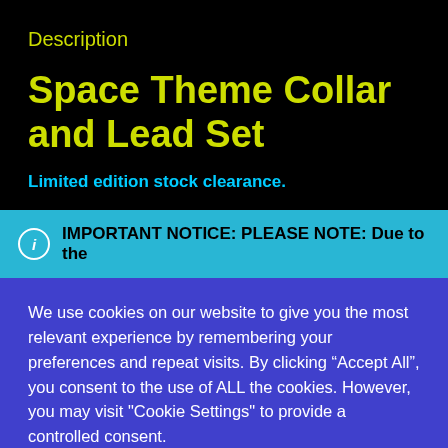Description
Space Theme Collar and Lead Set
Limited edition stock clearance.
IMPORTANT NOTICE: PLEASE NOTE: Due to the
We use cookies on our website to give you the most relevant experience by remembering your preferences and repeat visits. By clicking “Accept All”, you consent to the use of ALL the cookies. However, you may visit "Cookie Settings" to provide a controlled consent.
Cookie Settings | Accept All